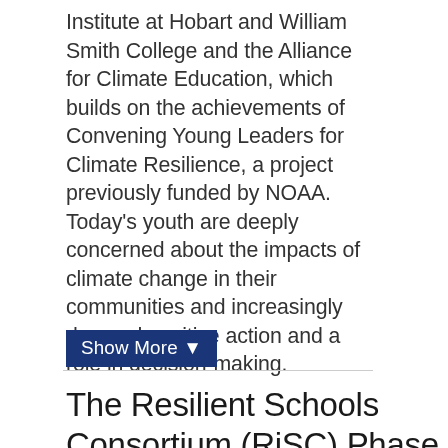Institute at Hobart and William Smith College and the Alliance for Climate Education, which builds on the achievements of Convening Young Leaders for Climate Resilience, a project previously funded by NOAA. Today's youth are deeply concerned about the impacts of climate change in their communities and increasingly demand positive action and a role in decision-making.
Show More ▼
The Resilient Schools Consortium (RiSC) Phase II...